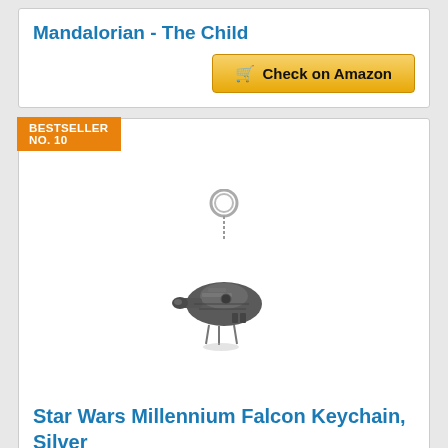Mandalorian - The Child
[Figure (other): Check on Amazon button for Mandalorian - The Child product]
BESTSELLER NO. 10
[Figure (photo): Star Wars Millennium Falcon keychain in silver metal, shaped like the spaceship, hanging from a keyring chain]
Star Wars Millennium Falcon Keychain, Silver
[Figure (logo): Amazon Prime logo with checkmark]
[Figure (other): Check on Amazon button for Star Wars Millennium Falcon Keychain]